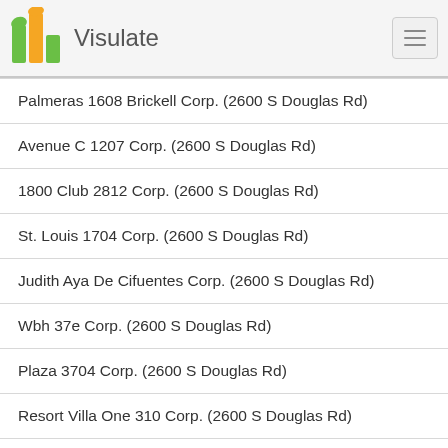Visulate
Palmeras 1608 Brickell Corp. (2600 S Douglas Rd)
Avenue C 1207 Corp. (2600 S Douglas Rd)
1800 Club 2812 Corp. (2600 S Douglas Rd)
St. Louis 1704 Corp. (2600 S Douglas Rd)
Judith Aya De Cifuentes Corp. (2600 S Douglas Rd)
Wbh 37e Corp. (2600 S Douglas Rd)
Plaza 3704 Corp. (2600 S Douglas Rd)
Resort Villa One 310 Corp. (2600 S Douglas Rd)
Metrowest 6440 Corp. (2600 S Douglas Rd)
500 Brickell East 3208 Corp. (2600 S Douglas Rd)